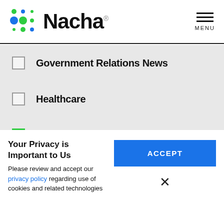[Figure (logo): Nacha logo with colorful dot grid and bold Nacha wordmark]
Government Relations News (unchecked)
Healthcare (unchecked)
International/Cross Border (checked, green)
Membership (unchecked)
Nacha Governance (checked, green)
Your Privacy is Important to Us
Please review and accept our privacy policy regarding use of cookies and related technologies
ACCEPT